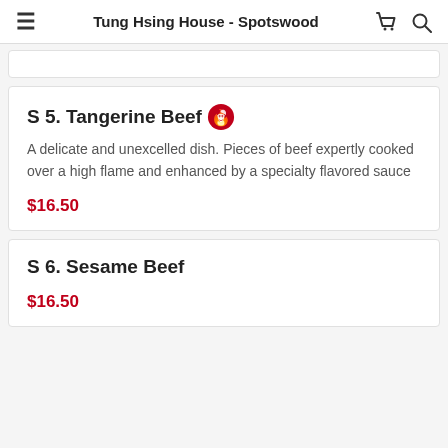Tung Hsing House - Spotswood
S 5. Tangerine Beef
A delicate and unexcelled dish. Pieces of beef expertly cooked over a high flame and enhanced by a specialty flavored sauce
$16.50
S 6. Sesame Beef
$16.50